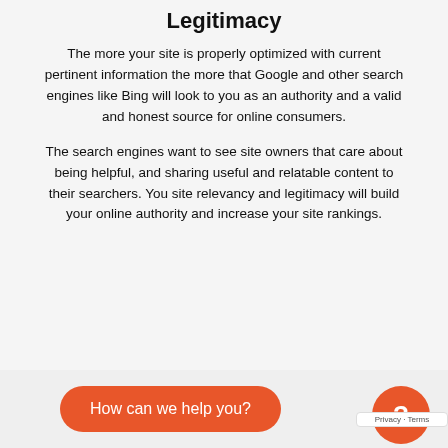Legitimacy
The more your site is properly optimized with current pertinent information the more that Google and other search engines like Bing will look to you as an authority and a valid and honest source for online consumers.
The search engines want to see site owners that care about being helpful, and sharing useful and relatable content to their searchers. You site relevancy and legitimacy will build your online authority and increase your site rankings.
How can we help you?